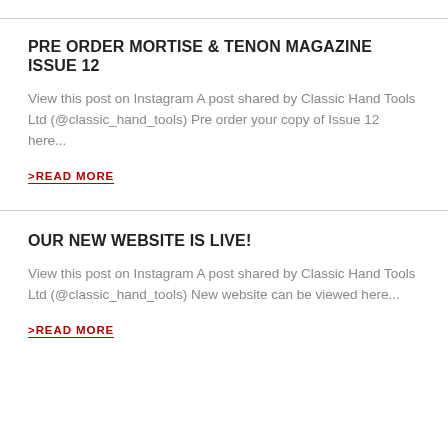PRE ORDER MORTISE & TENON MAGAZINE ISSUE 12
View this post on Instagram A post shared by Classic Hand Tools Ltd (@classic_hand_tools) Pre order your copy of Issue 12 here...
>READ MORE
OUR NEW WEBSITE IS LIVE!
View this post on Instagram A post shared by Classic Hand Tools Ltd (@classic_hand_tools) New website can be viewed here...
>READ MORE